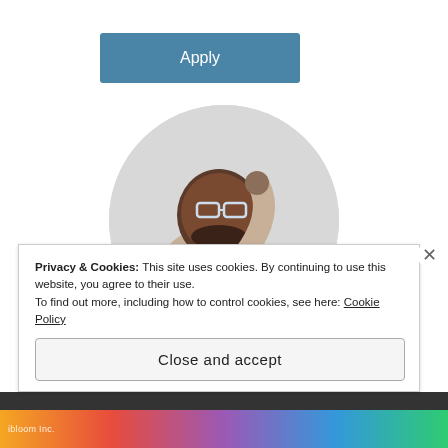[Figure (screenshot): Blue 'Apply' button]
[Figure (photo): Circular cropped photo of a man wearing glasses and a beige t-shirt, sitting at a desk, looking upward thoughtfully with hand on chin]
Privacy & Cookies: This site uses cookies. By continuing to use this website, you agree to their use.
To find out more, including how to control cookies, see here: Cookie Policy
Close and accept